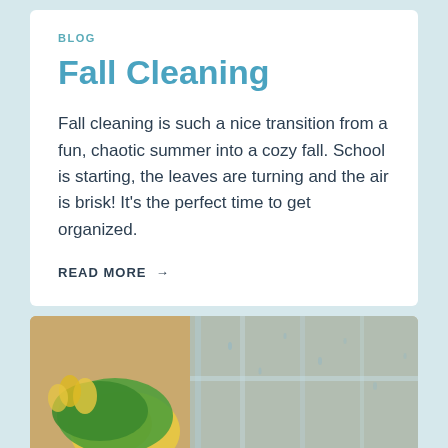BLOG
Fall Cleaning
Fall cleaning is such a nice transition from a fun, chaotic summer into a cozy fall. School is starting, the leaves are turning and the air is brisk! It's the perfect time to get organized.
READ MORE →
[Figure (photo): Person wearing yellow rubber gloves and using a green cloth to clean a window, with a blurred background of windows and light-colored walls.]